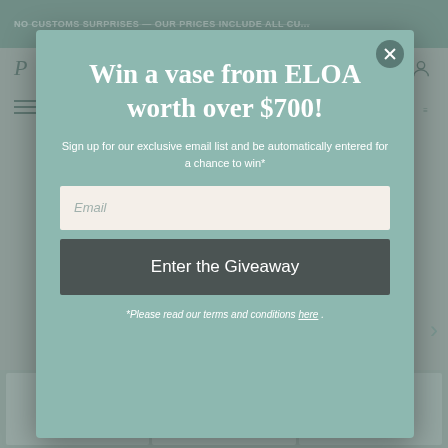[Figure (screenshot): Website background showing navigation bar with 'NO CUSTOMS SURPRISES - OUR PRICES INCLUDE ALL CU...' text, logo letter P, hamburger menu icon, and product grid partially visible behind modal overlay]
Win a vase from ELOA worth over $700!
Sign up for our exclusive email list and be automatically entered for a chance to win*
Email
Enter the Giveaway
*Please read our terms and conditions here.